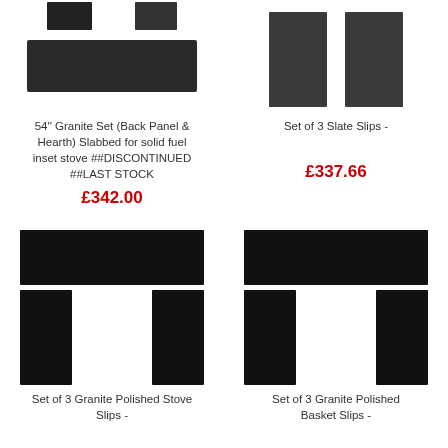[Figure (photo): 54 inch Granite Set showing back panel hearth slab with two smaller pieces on top]
54'' Granite Set (Back Panel & Hearth) Slabbed for solid fuel inset stove ##DISCONTINUED ##LAST STOCK
£342.00
[Figure (photo): Set of 3 Slate Slips - two dark rectangular slate pieces]
Set of 3 Slate Slips -
£337.66
[Figure (photo): Set of 3 Granite Polished Stove Slips - black granite pieces arranged in fireplace surround shape]
Set of 3 Granite Polished Stove Slips -
[Figure (photo): Set of 3 Granite Polished Basket Slips - black granite pieces arranged in fireplace surround shape]
Set of 3 Granite Polished Basket Slips -